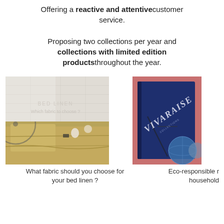Offering a reactive and attentive customer service.
Proposing two collections per year and collections with limited edition products throughout the year.
[Figure (photo): Photo of a bed with golden/yellow linen sheets and blanket, with text overlay reading 'BED LINEN Which fabric to choose ?']
What fabric should you choose for your bed linen ?
[Figure (photo): Photo of a navy blue book/catalogue with 'VIVARAISE' text embossed, with a globe visible in the background]
Eco-responsible r household